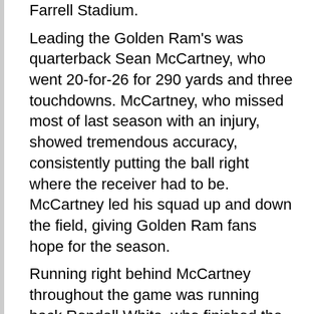Farrell Stadium. Leading the Golden Ram's was quarterback Sean McCartney, who went 20-for-26 for 290 yards and three touchdowns. McCartney, who missed most of last season with an injury, showed tremendous accuracy, consistently putting the ball right where the receiver had to be. McCartney led his squad up and down the field, giving Golden Ram fans hope for the season. Running right behind McCartney throughout the game was running back Rondell White, who finished the day with 96 yards and two touchdowns on the ground off of 28 carries. White also caught six catches for 94 yards and another touchdown. To add to those superb stats, White also returned kick off returns for 97...